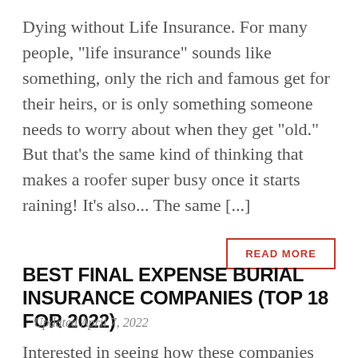Dying without Life Insurance. For many people, “life insurance” sounds like something, only the rich and famous get for their heirs, or is only something someone needs to worry about when they get “old.” But that’s the same kind of thinking that makes a roofer super busy once it starts raining! It’s also… The same [...]
READ MORE
BEST FINAL EXPENSE BURIAL INSURANCE COMPANIES (TOP 18 FOR 2022)
Updated April 7, 2022
Interested in seeing how these companies stack